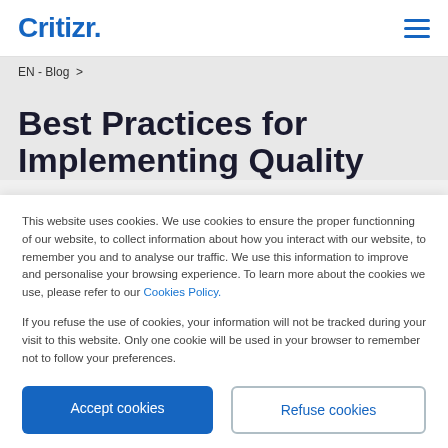Critizr.
EN - Blog  >
Best Practices for Implementing Quality
This website uses cookies. We use cookies to ensure the proper functionning of our website, to collect information about how you interact with our website, to remember you and to analyse our traffic. We use this information to improve and personalise your browsing experience. To learn more about the cookies we use, please refer to our Cookies Policy.
If you refuse the use of cookies, your information will not be tracked during your visit to this website. Only one cookie will be used in your browser to remember not to follow your preferences.
Accept cookies  Refuse cookies